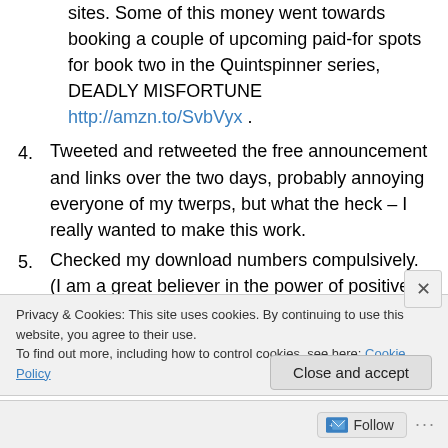sites. Some of this money went towards booking a couple of upcoming paid-for spots for book two in the Quintspinner series, DEADLY MISFORTUNE http://amzn.to/SvbVyx .
4. Tweeted and retweeted the free announcement and links over the two days, probably annoying everyone of my twerps, but what the heck – I really wanted to make this work.
5. Checked my download numbers compulsively. (I am a great believer in the power of positive thinking and I
Privacy & Cookies: This site uses cookies. By continuing to use this website, you agree to their use. To find out more, including how to control cookies, see here: Cookie Policy
Close and accept
Follow